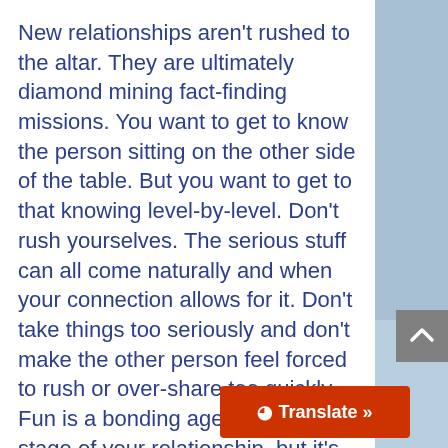New relationships aren't rushed to the altar. They are ultimately diamond mining fact-finding missions. You want to get to know the person sitting on the other side of the table. But you want to get to that knowing level-by-level. Don't rush yourselves. The serious stuff can all come naturally and when your connection allows for it. Don't take things too seriously and don't make the other person feel forced to rush or over-share too quickly. Fun is a bonding agent at every stage of your relationship, but it's especially important when getti ground